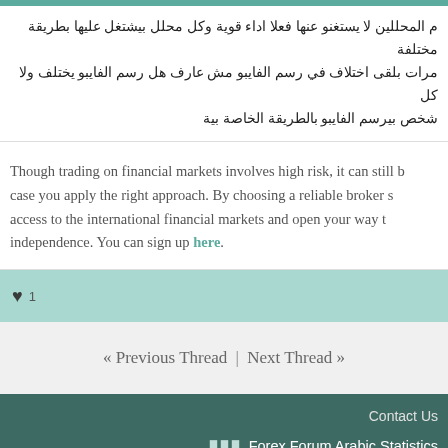م المحللين لا يستغنو عنها فعلا اداء قوية وكل محلل بيشتغل عليها بطريقة مختلفة مرات بلقى اختلاف في رسم الفايبو مش عارف هل رسم الفايبو يختلف ولا كل شخص بيرسم الفايبو بالطريقة الخاصة بية
Though trading on financial markets involves high risk, it can still be the case you apply the right approach. By choosing a reliable broker s... access to the international financial markets and open your way to independence. You can sign up here.
♥ 1
« Previous Thread | Next Thread »
Contact Us
Forex Forum Arabic Statistics
Welcome to our newest member,
Threads: 636,489   Posts: 10,682,355   Members: 112,448